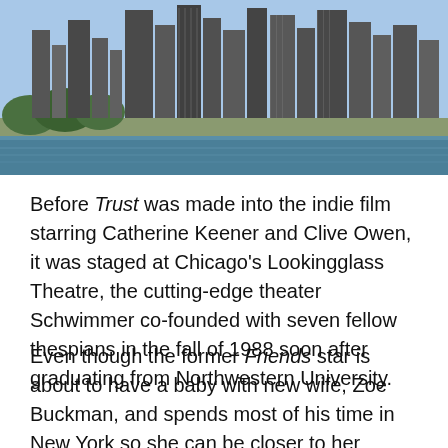[Figure (photo): Aerial/waterfront view of Chicago skyline with tall skyscrapers, trees, and a body of water (Lake Michigan) in the foreground under a blue sky.]
Before Trust was made into the indie film starring Catherine Keener and Clive Owen, it was staged at Chicago's Lookingglass Theatre, the cutting-edge theater Schwimmer co-founded with seven fellow thespians in the fall of 1988 soon after graduating from Northwestern University.
Even though the former Friends star is about to have a baby with new wife, Zoe Buckman, and spends most of his time in New York so she can be closer to her British roots, he's still a staunch supporter of his adopted hometown of Chicago. He owns a home (or rather a loft) there and